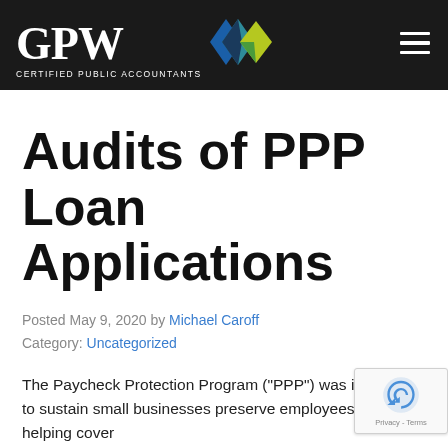GPW CERTIFIED PUBLIC ACCOUNTANTS
Audits of PPP Loan Applications
Posted May 9, 2020 by Michael Caroff
Category: Uncategorized
The Paycheck Protection Program (“PPP”) was intended to sustain small businesses preserve employees’ jobs by helping cover